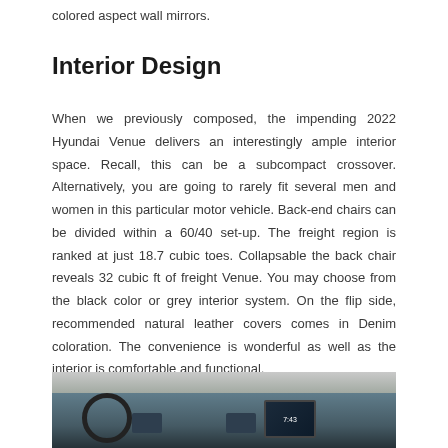colored aspect wall mirrors.
Interior Design
When we previously composed, the impending 2022 Hyundai Venue delivers an interestingly ample interior space. Recall, this can be a subcompact crossover. Alternatively, you are going to rarely fit several men and women in this particular motor vehicle. Back-end chairs can be divided within a 60/40 set-up. The freight region is ranked at just 18.7 cubic toes. Collapsable the back chair reveals 32 cubic ft of freight Venue. You may choose from the black color or grey interior system. On the flip side, recommended natural leather covers comes in Denim coloration. The convenience is wonderful as well as the interior is comfortable and functional.
[Figure (photo): Interior dashboard view of a 2022 Hyundai Venue showing steering wheel, dashboard, center console, and infotainment screen displaying 7:43]